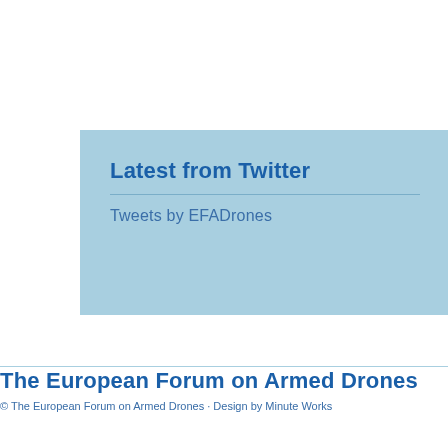[Figure (screenshot): Light blue box containing 'Latest from Twitter' heading with a horizontal divider and 'Tweets by EFADrones' subtitle]
The European Forum on Armed Drones
© The European Forum on Armed Drones · Design by Minute Works